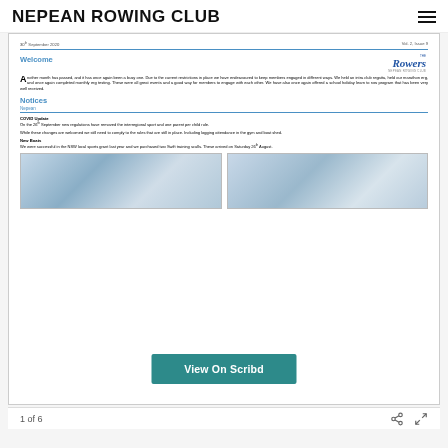NEPEAN ROWING CLUB
[Figure (screenshot): Screenshot of a newsletter page from Nepean Rowing Club, Vol. 2 Issue 9, dated 30th September 2020. Contains Welcome section with The Rowers logo, body text about club activities, Notices section with COVID Update and New Boats notices, and two photographs of boats.]
View On Scribd
1 of 6